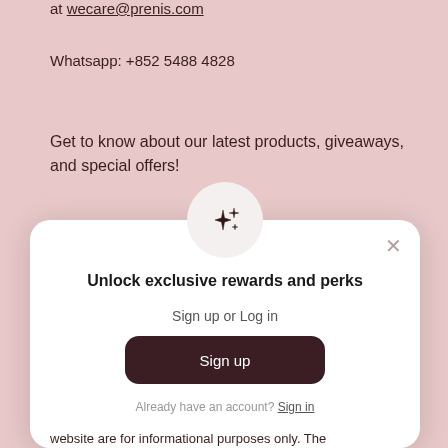at wecare@prenis.com
Whatsapp: +852 5488 4828
Get to know about our latest products, giveaways, and special offers!
[Figure (screenshot): Modal popup with sparkle icon, title 'Unlock exclusive rewards and perks', subtitle 'Sign up or Log in', a dark Sign up button, and a 'Already have an account? Sign in' link. Has an X close button in the top right.]
website are for informational purposes only. The